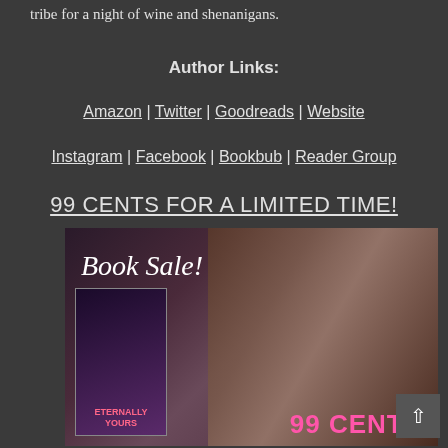tribe for a night of wine and shenanigans.
Author Links:
Amazon | Twitter | Goodreads | Website
Instagram | Facebook | Bookbub | Reader Group
99 CENTS FOR A LIMITED TIME!
[Figure (photo): Book Sale promotional image showing a romantic couple about to kiss, with a book cover for 'Eternally Yours' displayed on a tablet device in the lower left, and text reading 'Book Sale!' in cursive at the top left. The bottom right shows '99 CENTS' in pink text.]